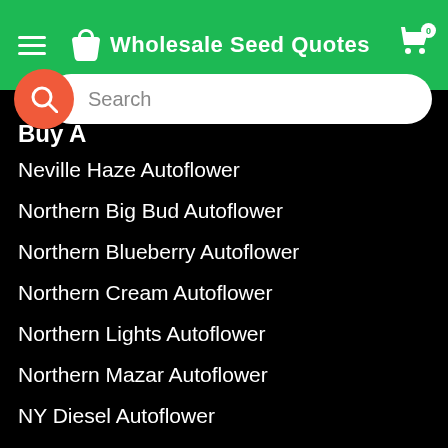Wholesale Seed Quotes
[Figure (screenshot): Search bar with orange search icon button and white rounded input field showing 'Search' placeholder]
Buy A...
Neville Haze Autoflower
Northern Big Bud Autoflower
Northern Blueberry Autoflower
Northern Cream Autoflower
Northern Lights Autoflower
Northern Mazar Autoflower
NY Diesel Autoflower
OG Kush Autoflower
Onyx Autoflower
Orka Autoflower
Pineapple Autoflower
Purple Kush Autoflower
Purple Punch Autoflower
Purple Sunset Autoflower